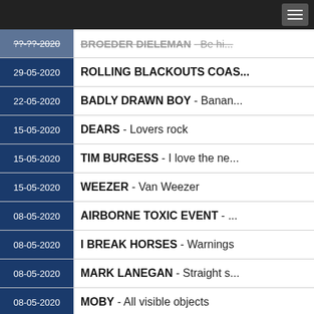Navigation header with hamburger menu
[date truncated] BROEDER DIELEMAN - Be hi...
29-05-2020 ROLLING BLACKOUTS COAS...
22-05-2020 BADLY DRAWN BOY - Banan...
15-05-2020 DEARS - Lovers rock
15-05-2020 TIM BURGESS - I love the ne...
15-05-2020 WEEZER - Van Weezer
08-05-2020 AIRBORNE TOXIC EVENT - ...
08-05-2020 I BREAK HORSES - Warnings
08-05-2020 MARK LANEGAN - Straight s...
08-05-2020 MOBY - All visible objects
01-05-2020 AUSTRA - Hirudin
01-05-2020 CAR SEAT HEADREST - Maki...